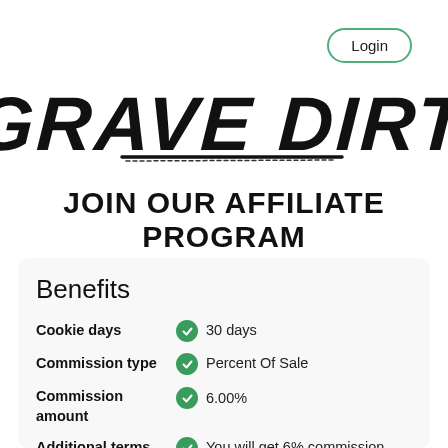Login
[Figure (logo): Grave Dirt logo in large distressed brush-stroke style lettering]
JOIN OUR AFFILIATE PROGRAM
Benefits
Cookie days: 30 days
Commission type: Percent Of Sale
Commission amount: 6.00%
Additional terms: You will get 6% commission